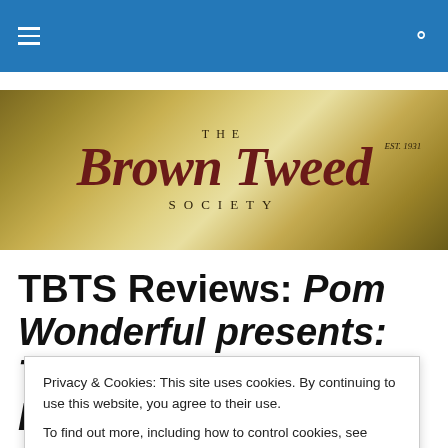Navigation bar with hamburger menu and search icon
[Figure (logo): The Brown Tweed Society logo on a golden/khaki textured background. Serif italic script reads 'Brown Tweed' with 'THE' above and 'SOCIETY' below in spaced caps. EST. 1931 in top right.]
TBTS Reviews: Pom Wonderful presents: The Greatest Movie Ever Sold
Privacy & Cookies: This site uses cookies. By continuing to use this website, you agree to their use.
To find out more, including how to control cookies, see here: Cookie Policy
Close and accept